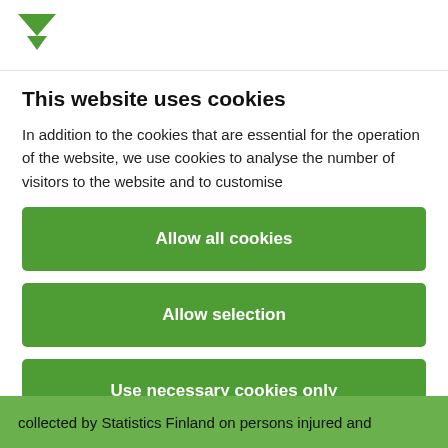[Figure (logo): Green downward-pointing chevron/arrow logo (Statistics Finland or similar)]
This website uses cookies
In addition to the cookies that are essential for the operation of the website, we use cookies to analyse the number of visitors to the website and to customise
Allow all cookies
Allow selection
Use necessary cookies only
Powered by Cookiebot by Usercentrics
collected by Statistics Finland on persons injured and